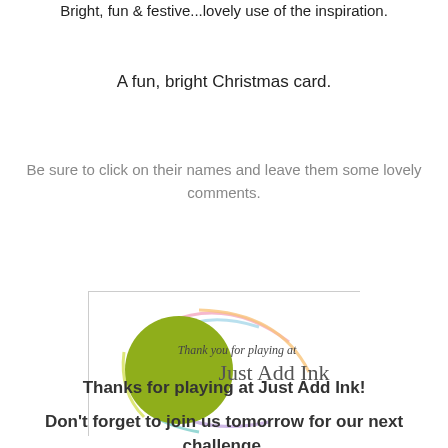Bright, fun & festive...lovely use of the inspiration.
A fun, bright Christmas card.
Be sure to click on their names and leave them some lovely comments.
[Figure (logo): Just Add Ink logo with a green circle and colorful swirl lines, text reads 'Thank you for playing at Just Add Ink']
Thanks for playing at Just Add Ink!
Don't forget to join us tomorrow for our next challenge.